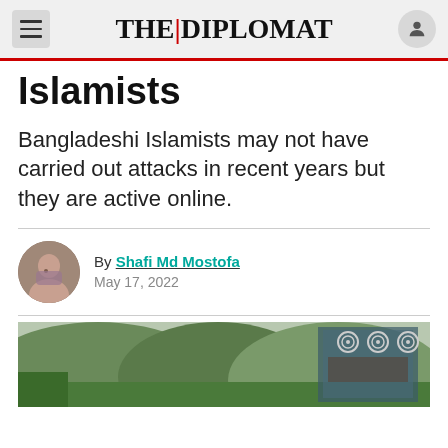THE DIPLOMAT
Islamists
Bangladeshi Islamists may not have carried out attacks in recent years but they are active online.
By Shafi Md Mostofa
May 17, 2022
[Figure (photo): Outdoor photo showing mountainous green terrain with a decorated gate or structure visible on the right side]